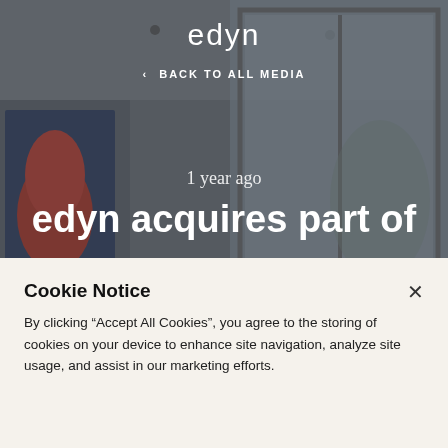[Figure (screenshot): Hero background image showing a modern interior room with a framed artwork on the left and large windows on the right, overlaid with dark tint]
edyn
< BACK TO ALL MEDIA
1 year ago
edyn acquires part of
Cookie Notice
By clicking “Accept All Cookies”, you agree to the storing of cookies on your device to enhance site navigation, analyze site usage, and assist in our marketing efforts.